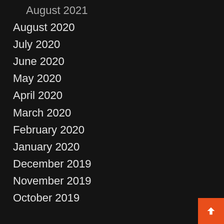August 2021
August 2020
July 2020
June 2020
May 2020
April 2020
March 2020
February 2020
January 2020
December 2019
November 2019
October 2019
Categories
Apps
Business
Courses